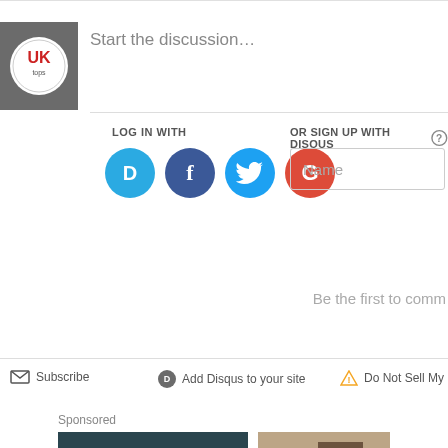Start the discussion…
LOG IN WITH
OR SIGN UP WITH DISQUS
[Figure (screenshot): Social login icons: Disqus (D), Facebook (f), Twitter bird, Google (G) circles]
Name
Be the first to comm
Subscribe
Add Disqus to your site
Do Not Sell My Da
Sponsored
[Figure (photo): Advertisement image: dark background with military gear, text 'CAMP LEJEUNE LEGAL']
[Figure (photo): Advertisement image: light stone wall with outdoor lamp]